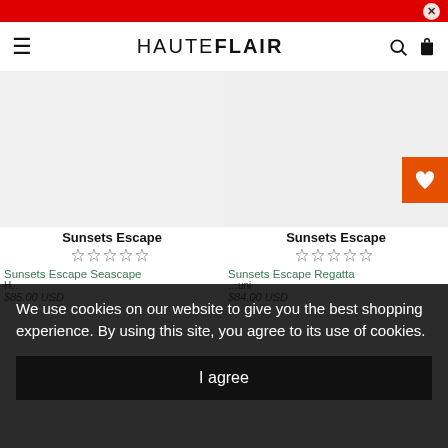HAUTEFLAIR — navigation header with hamburger menu, logo, search and bag icons
[Figure (screenshot): Product image placeholder for Sunsets Escape (left column), white/light background]
Sunsets Escape
[Figure (screenshot): Star rating row — 5 empty stars (left product)]
[Figure (screenshot): Product image placeholder for Sunsets Escape (right column), white/light background]
Sunsets Escape
[Figure (screenshot): Star rating row — 5 empty stars (right product)]
Sunsets Escape Seascape H… $85.00 USD
Sunsets Escape Regatta …uni $84.00 USD
We use cookies on our website to give you the best shopping experience. By using this site, you agree to its use of cookies.
I agree